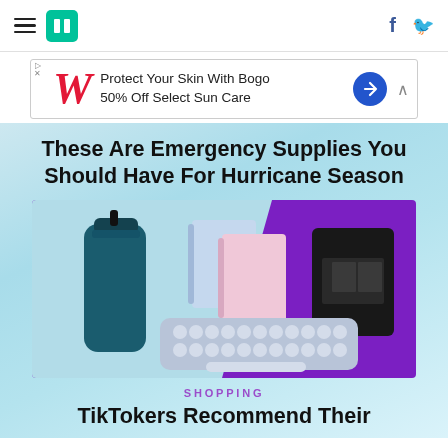HuffPost navigation with hamburger menu, logo, Facebook and Twitter icons
[Figure (other): Walgreens advertisement banner: 'Protect Your Skin With Bogo 50% Off Select Sun Care']
These Are Emergency Supplies You Should Have For Hurricane Season
[Figure (photo): Product collage on purple and light blue background: dark teal water bottle with straw lid, blue and pink spiral notebooks, blue rounded-key keyboard, black Moleskine planner]
SHOPPING
TikTokers Recommend Their